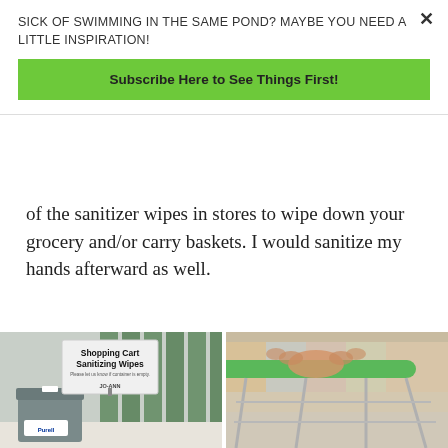SICK OF SWIMMING IN THE SAME POND? MAYBE YOU NEED A LITTLE INSPIRATION!
Subscribe Here to See Things First!
of the sanitizer wipes in stores to wipe down your grocery and/or carry baskets. I would sanitize my hands afterward as well.
[Figure (photo): A Purell sanitizing wipes dispenser station with a sign reading 'Shopping Cart Sanitizing Wipes – Please let us know if container is empty. JO-ANN']
[Figure (photo): A close-up of a hand gripping a shopping cart handle with a green plastic grip, in a blurred grocery store aisle background]